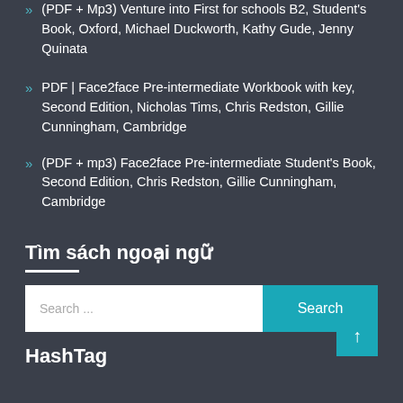(PDF + Mp3) Venture into First for schools B2, Student's Book, Oxford, Michael Duckworth, Kathy Gude, Jenny Quinata
PDF | Face2face Pre-intermediate Workbook with key, Second Edition, Nicholas Tims, Chris Redston, Gillie Cunningham, Cambridge
(PDF + mp3) Face2face Pre-intermediate Student's Book, Second Edition, Chris Redston, Gillie Cunningham, Cambridge
Tìm sách ngoại ngữ
[Figure (other): Search bar with white input field labeled 'Search ...' and teal 'Search' button]
HashTag